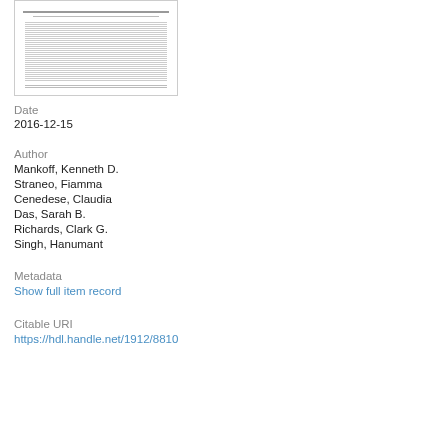[Figure (screenshot): Thumbnail preview of a document page showing a scientific paper with title, abstract text, and footer.]
Date
2016-12-15
Author
Mankoff, Kenneth D.
Straneo, Fiamma
Cenedese, Claudia
Das, Sarah B.
Richards, Clark G.
Singh, Hanumant
Metadata
Show full item record
Citable URI
https://hdl.handle.net/1912/8810